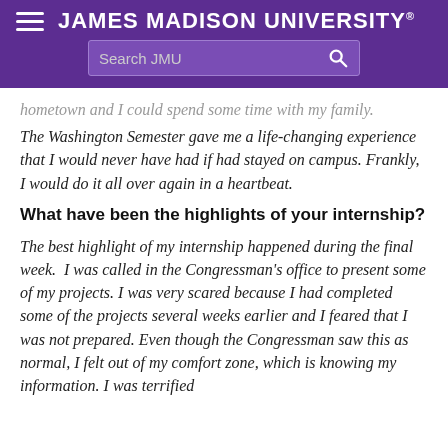JAMES MADISON UNIVERSITY. Search JMU
hometown and I could spend some time with my family. The Washington Semester gave me a life-changing experience that I would never have had if had stayed on campus. Frankly, I would do it all over again in a heartbeat.
What have been the highlights of your internship?
The best highlight of my internship happened during the final week.  I was called in the Congressman's office to present some of my projects. I was very scared because I had completed some of the projects several weeks earlier and I feared that I was not prepared. Even though the Congressman saw this as normal, I felt out of my comfort zone, which is knowing my information. I was terrified when I went to his office but he was cool. For my job, all of